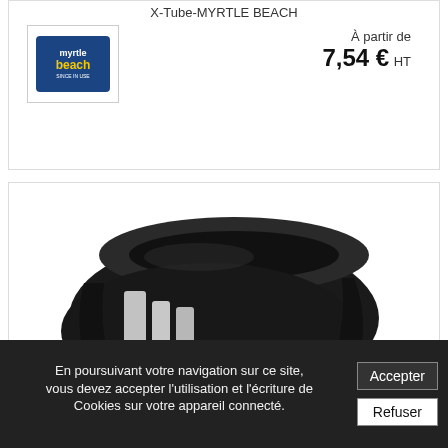X-Tube-MYRTLE BEACH
[Figure (logo): Myrtle Beach brand logo in blue rectangle with yellow 'beach' text]
À partir de
7,54 € HT
[Figure (photo): Black neck gaiter/tube scarf with white reflective stripes, folded in a circular shape]
Tour De Cou Bandes...
[Figure (logo): Myrtle Beach brand logo (partial)]
À partir de
En poursuivant votre navigation sur ce site, vous devez accepter l'utilisation et l'écriture de Cookies sur votre appareil connecté.